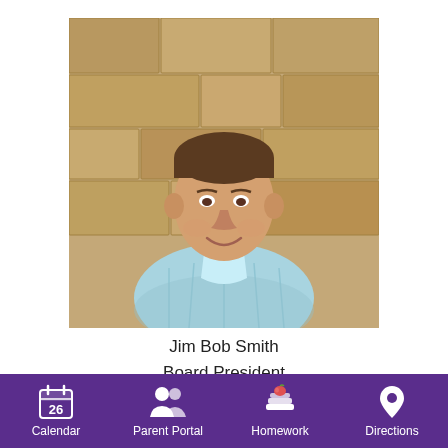[Figure (photo): Portrait photo of Jim Bob Smith, a middle-aged man in a light blue plaid shirt, standing in front of a stone wall, smiling at the camera.]
Jim Bob Smith
Board President
At Large Member
Jim Bob Smith was elected to the Mason ISD Board of Trustees in May 2017.  He graduated from Mason High School
Calendar  Parent Portal  Homework  Directions